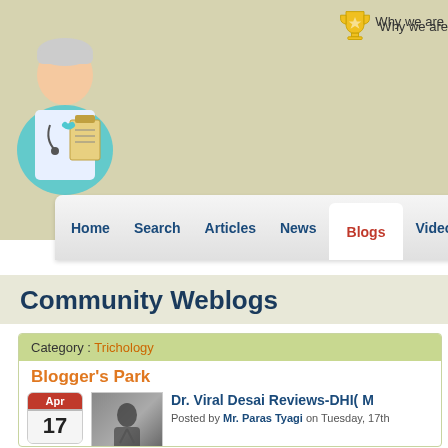[Figure (logo): indiaheartbeat.com website logo with doctor illustration and site name in italic serif font]
Why we are
Home  Search  Articles  News  Blogs  Videos
Community Weblogs
Category : Trichology
Blogger's Park
Dr. Viral Desai Reviews-DHI( M
Posted by Mr. Paras Tyagi on Tuesday, 17th